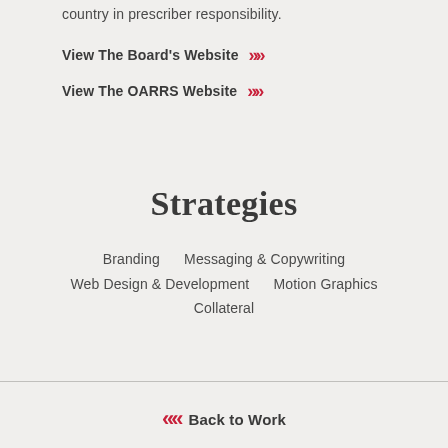country in prescriber responsibility.
View The Board's Website »»
View The OARRS Website »»
Strategies
Branding
Messaging & Copywriting
Web Design & Development
Motion Graphics
Collateral
« Back to Work